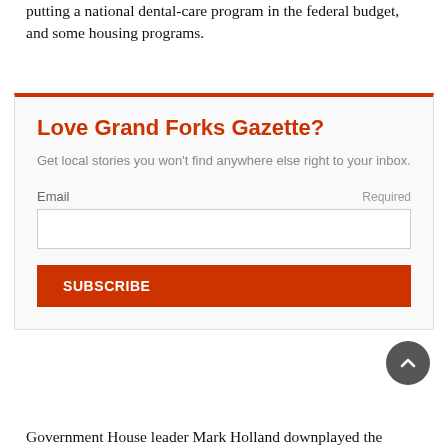putting a national dental-care program in the federal budget, and some housing programs.
Love Grand Forks Gazette?
Get local stories you won't find anywhere else right to your inbox.
Email   Required
Government House leader Mark Holland downplayed the